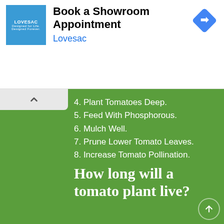[Figure (screenshot): Lovesac advertisement banner with logo, 'Book a Showroom Appointment' heading, 'Lovesac' subtext in blue, and a blue diamond direction sign icon]
4. Plant Tomatoes Deep.
5. Feed With Phosphorous.
6. Mulch Well.
7. Prune Lower Tomato Leaves.
8. Increase Tomato Pollination.
How long will a tomato plant live?
Typically, tomato plants live for around 6 months and will die after the first frost. There are ways that you can prolong their lifespans, such as picking the fruits early, practicing regular fertilization, and propagating your plant to create copies of it.